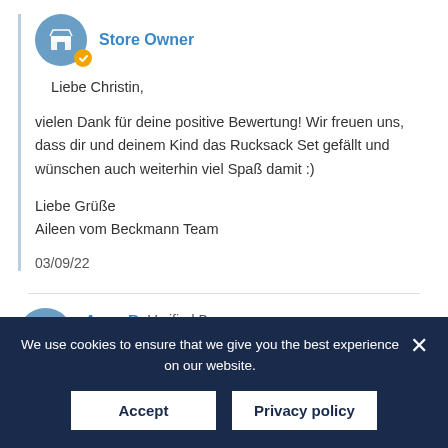Store Owner
Liebe Christin,

vielen Dank für deine positive Bewertung! Wir freuen uns, dass dir und deinem Kind das Rucksack Set gefällt und wünschen auch weiterhin viel Spaß damit :)

Liebe Grüße
Aileen vom Beckmann Team

03/09/22
Anne B. Verified Buyer
★★★★★
Großartig
We use cookies to ensure that we give you the best experience on our website.
Accept
Privacy policy